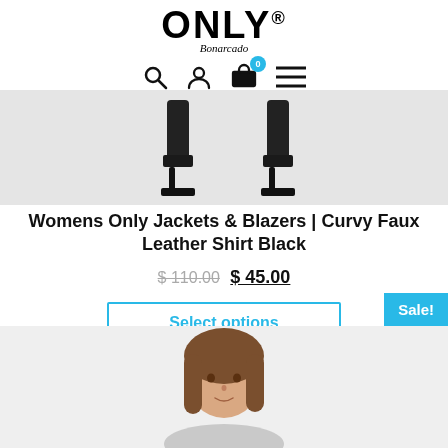[Figure (logo): ONLY Bonarcado brand logo with navigation icons (search, user, cart with 0 badge, hamburger menu)]
[Figure (photo): Top portion of a product image showing two black high-heel boots on a light grey background]
Womens Only Jackets & Blazers | Curvy Faux Leather Shirt Black
$ 110.00 $ 45.00
Select options
Sale!
[Figure (photo): Bottom portion of a product photo showing a young woman with long brown hair on a light grey background]